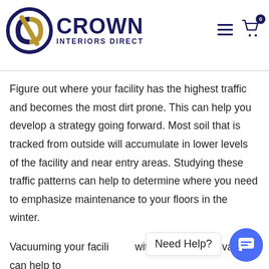[Figure (logo): Crown Interiors Direct logo with circular CID emblem in navy and gold, and text CROWN INTERIORS DIRECT in navy bold font]
Figure out where your facility has the highest traffic and becomes the most dirt prone. This can help you develop a strategy going forward. Most soil that is tracked from outside will accumulate in lower levels of the facility and near entry areas. Studying these traffic patterns can help to determine where you need to emphasize maintenance to your floors in the winter.
Vacuuming your facili   with a commercial vacuum can help to